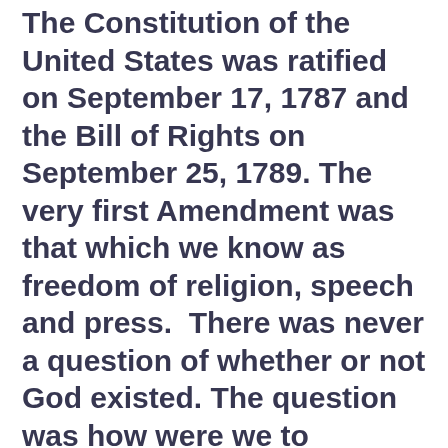The Constitution of the United States was ratified on September 17, 1787 and the Bill of Rights on September 25, 1789. The very first Amendment was that which we know as freedom of religion, speech and press.  There was never a question of whether or not God existed. The question was how were we to worship Him. The answer was; any way you choose. The government would make no law establishing or prohibiting...